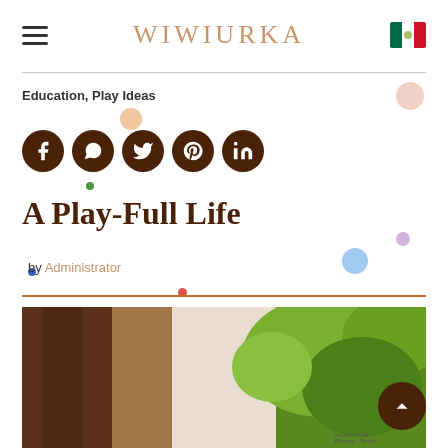WIWIURKA
Education, Play Ideas
[Figure (other): Social share icons: Facebook, WhatsApp, Twitter, Pinterest, LinkedIn]
A Play-Full Life
by Administrator
[Figure (photo): Outdoor photo showing tree foliage and nature scene, partial view at bottom of page]